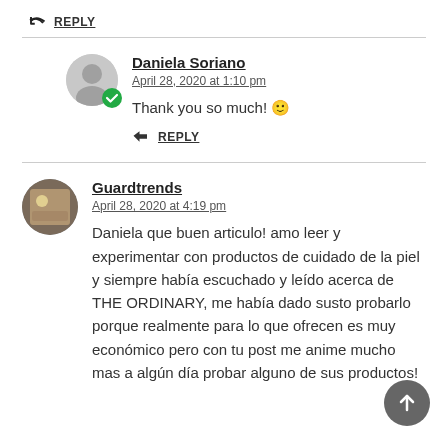My pleasure, followed you!
← REPLY
Daniela Soriano
April 28, 2020 at 1:10 pm
Thank you so much! 🙂
← REPLY
Guardtrends
April 28, 2020 at 4:19 pm
Daniela que buen articulo! amo leer y experimentar con productos de cuidado de la piel y siempre había escuchado y leído acerca de THE ORDINARY, me había dado susto probarlo porque realmente para lo que ofrecen es muy económico pero con tu post me anime mucho mas a algún día probar alguno de sus productos!